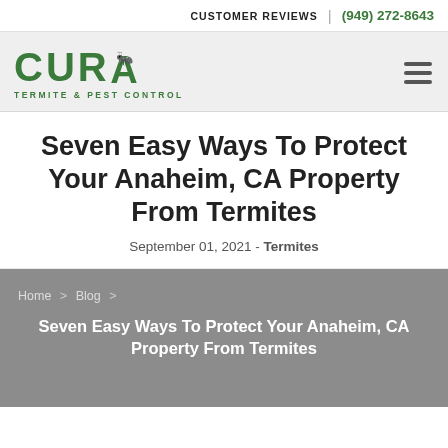CUSTOMER REVIEWS | (949) 272-8643
[Figure (logo): CURA Termite & Pest Control logo in green with a bug icon]
Seven Easy Ways To Protect Your Anaheim, CA Property From Termites
September 01, 2021 - Termites
Home > Blog > Seven Easy Ways To Protect Your Anaheim, CA Property From Termites